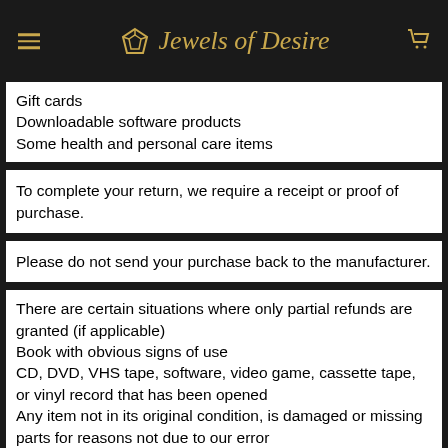Jewels of Desire
Gift cards
Downloadable software products
Some health and personal care items
To complete your return, we require a receipt or proof of purchase.
Please do not send your purchase back to the manufacturer.
There are certain situations where only partial refunds are granted (if applicable)
Book with obvious signs of use
CD, DVD, VHS tape, software, video game, cassette tape, or vinyl record that has been opened
Any item not in its original condition, is damaged or missing parts for reasons not due to our error
Any item that is returned more than 30 days after delivery